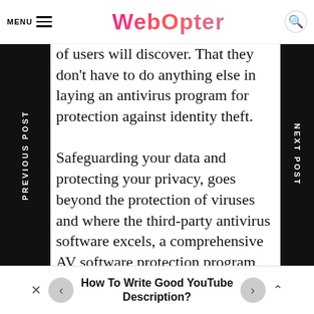MENU  WebOpter
of users will discover. That they don't have to do anything else in laying an antivirus program for protection against identity theft.

Safeguarding your data and protecting your privacy, goes beyond the protection of viruses and where the third-party antivirus software excels, a comprehensive AV software protection program can be used to keep track of all your Windows operating system. As well as MacOS, iOS, and Android devices and includes an account manager for passwords and
How To Write Good YouTube Description?